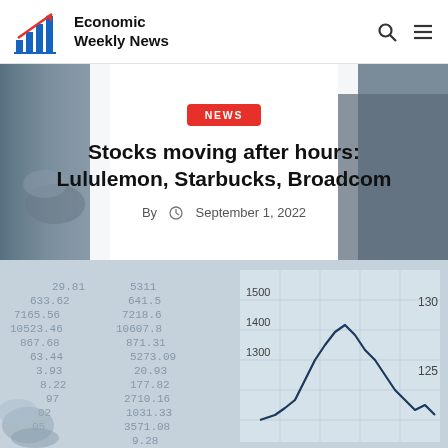Economic Weekly News
Stocks moving after hours: Lululemon, Starbucks, Broadcom
By  September 1, 2022
[Figure (photo): Stock market chart with financial numbers in background — blurred financial data sheet with stock chart line going up, numbers visible: 633.62, 7165.56, 10523.46, 867.68, 63.44, 5311, 641, 7218, 10607, 871, 5273, 20, 177.82, 2710.16, 1031.33, 3571.08; chart shows values 1300, 1400, 1500, 130, 125]